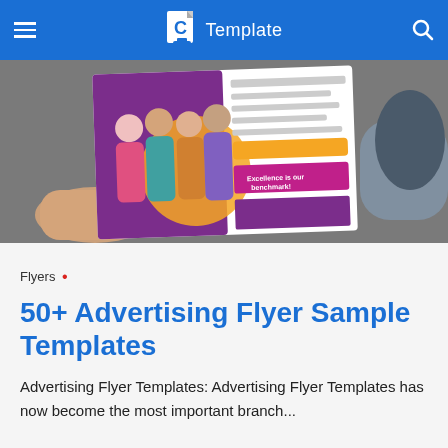Template
[Figure (photo): Two hands holding an advertising flyer showing students — a purple and yellow educational flyer with the text 'Excellence is our Benchmark!' visible on the right side.]
Flyers •
50+ Advertising Flyer Sample Templates
Advertising Flyer Templates: Advertising Flyer Templates has now become the most important branch...